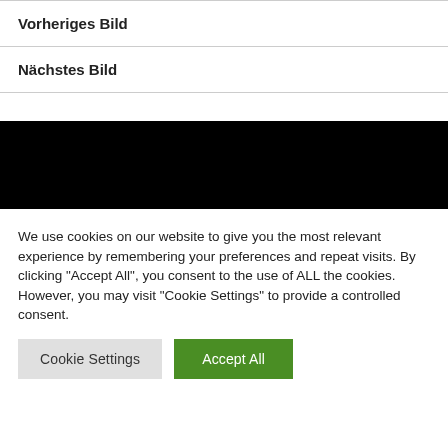Vorheriges Bild
Nächstes Bild
[Figure (other): Black banner/bar area]
We use cookies on our website to give you the most relevant experience by remembering your preferences and repeat visits. By clicking "Accept All", you consent to the use of ALL the cookies. However, you may visit "Cookie Settings" to provide a controlled consent.
Cookie Settings | Accept All